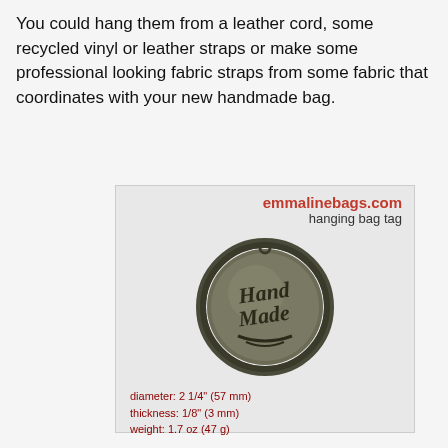You could hang them from a leather cord, some recycled vinyl or leather straps or make some professional looking fabric straps from some fabric that coordinates with your new handmade bag.
[Figure (photo): Product card for emmalinebags.com hanging bag tag showing a circular metal 'Hand Made' charm/tag in gunmetal finish, with specs: diameter: 2 1/4" (57 mm), thickness: 1/8" (3 mm), weight: 1.7 oz (47 g)]